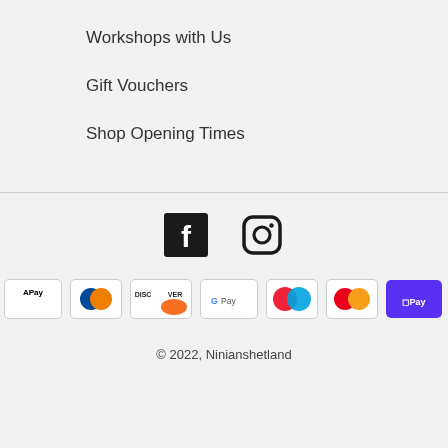Workshops with Us
Gift Vouchers
Shop Opening Times
[Figure (infographic): Social media icons: Facebook and Instagram]
[Figure (infographic): Payment method icons: American Express, Apple Pay, Diners Club, Discover, Google Pay, Maestro, Mastercard, Shop Pay, Visa]
© 2022, Ninianshetland